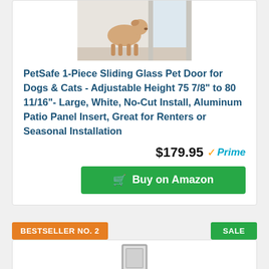[Figure (photo): Photo of a dog standing at a sliding glass pet door]
PetSafe 1-Piece Sliding Glass Pet Door for Dogs & Cats - Adjustable Height 75 7/8" to 80 11/16"- Large, White, No-Cut Install, Aluminum Patio Panel Insert, Great for Renters or Seasonal Installation
$179.95 Prime
Buy on Amazon
BESTSELLER NO. 2
SALE
[Figure (photo): Photo of a slim aluminum pet door panel insert product]